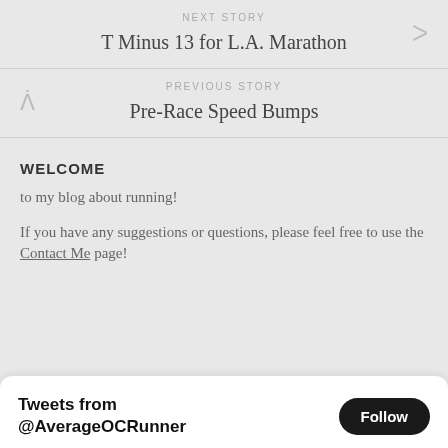NEXT STORY
T Minus 13 for L.A. Marathon
PREVIOUS STORY
Pre-Race Speed Bumps
WELCOME
to my blog about running!
If you have any suggestions or questions, please feel free to use the Contact Me page!
Tweets from @AverageOCRunner